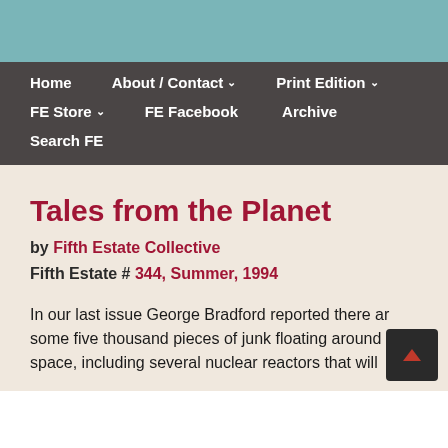Home | About / Contact | Print Edition | FE Store | FE Facebook | Archive | Search FE
Tales from the Planet
by Fifth Estate Collective
Fifth Estate # 344, Summer, 1994
In our last issue George Bradford reported there are some five thousand pieces of junk floating around in space, including several nuclear reactors that will